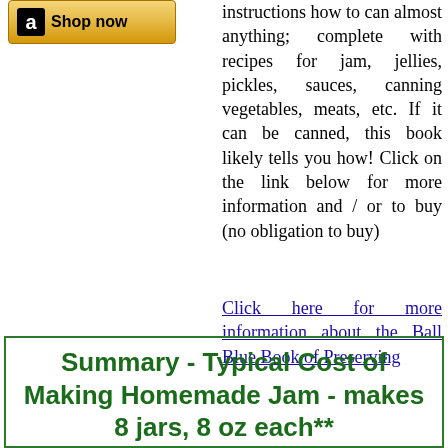[Figure (logo): Amazon 'Shop now' button with black 'a' logo on gold/yellow gradient background]
instructions how to can almost anything; complete with recipes for jam, jellies, pickles, sauces, canning vegetables, meats, etc. If it can be canned, this book likely tells you how! Click on the link below for more information and / or to buy (no obligation to buy)
Click here for more information about the Ball Blue Book of Preserving
Summary - Typical Cost of Making Homemade Jam - makes 8 jars, 8 oz each**